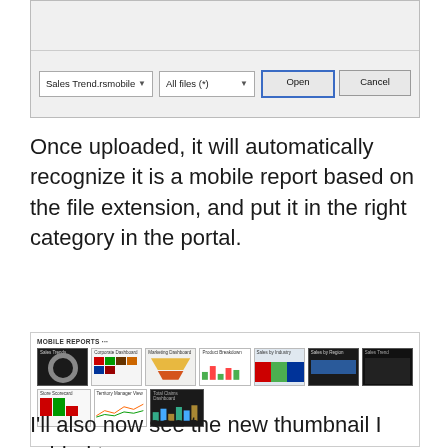[Figure (screenshot): File open dialog showing 'Sales Trend.rsmobile' in filename field with 'All files (*)' file type, and Open/Cancel buttons]
Once uploaded, it will automatically recognize it is a mobile report based on the file extension, and put it in the right category in the portal.
[Figure (screenshot): Mobile Reports portal showing a grid of mobile report thumbnails including Sales Trends, Corporate Dashboard, Marketing Dashboard, Product Breakdown, Sales by Industry, Sales by Region, Sales Trend, Store Scorecard, Territory Manager View, Total Claims Dashboard]
I'll also now see the new thumbnail I added to